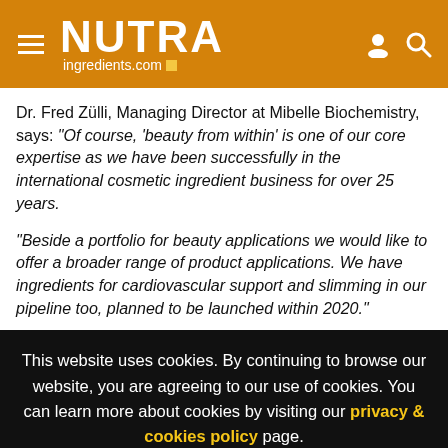NUTRAingredients.com
Dr. Fred Zülli, Managing Director at Mibelle Biochemistry, says: “Of course, ‘beauty from within’ is one of our core expertise as we have been successfully in the international cosmetic ingredient business for over 25 years.

“Beside a portfolio for beauty applications we would like to offer a broader range of product applications. We have ingredients for cardiovascular support and slimming in our pipeline too, planned to be launched within 2020.”
This website uses cookies. By continuing to browse our website, you are agreeing to our use of cookies. You can learn more about cookies by visiting our privacy & cookies policy page.